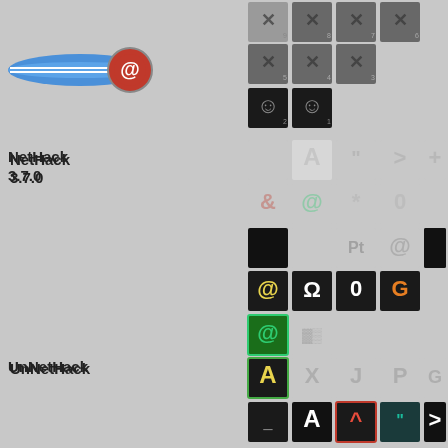[Figure (screenshot): NetHack game tile sheet showing various game sprites/icons for NetHack 3.7.0 and UnNetHack variants, arranged in rows with section labels on the left.]
NetHack 3.7.0
UnNetHack